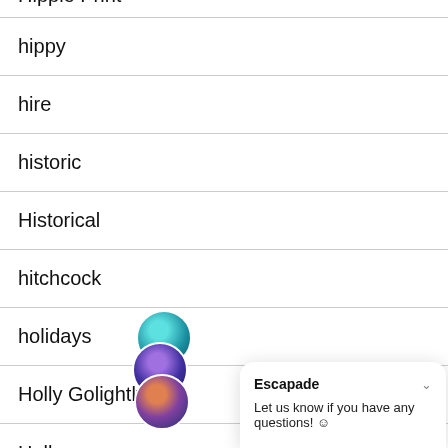Hippie Print
hippy
hire
historic
Historical
hitchcock
holidays
Holly Golightly
Hollywood
[Figure (other): Chat popup widget from 'Escapade' with stacked user avatars and message: Let us know if you have any questions!]